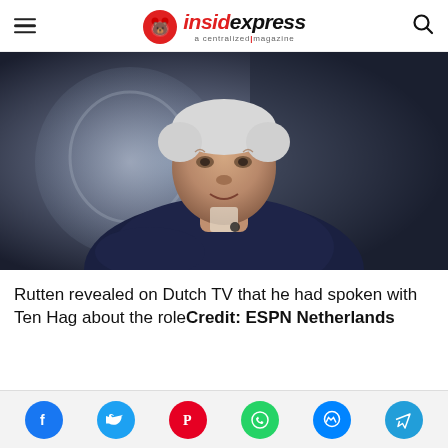insidexpress — a centralized magazine
[Figure (photo): An older man with white/grey hair wearing a dark navy jacket, sitting and speaking, with a large trophy/shield visible in the blurred background. TV studio setting.]
Rutten revealed on Dutch TV that he had spoken with Ten Hag about the roleCredit: ESPN Netherlands